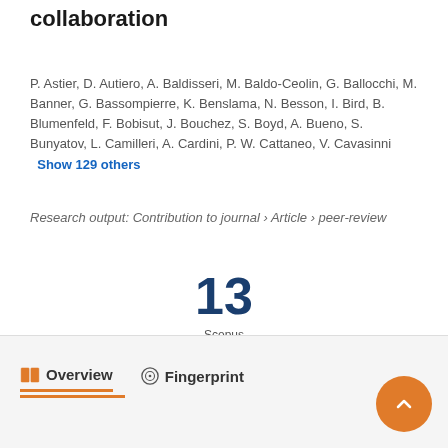collaboration
P. Astier, D. Autiero, A. Baldisseri, M. Baldo-Ceolin, G. Ballocchi, M. Banner, G. Bassompierre, K. Benslama, N. Besson, I. Bird, B. Blumenfeld, F. Bobisut, J. Bouchez, S. Boyd, A. Bueno, S. Bunyatov, L. Camilleri, A. Cardini, P. W. Cattaneo, V. Cavasinni   Show 129 others
Research output: Contribution to journal › Article › peer-review
[Figure (infographic): Citation count: 13 Scopus citations]
Overview   Fingerprint